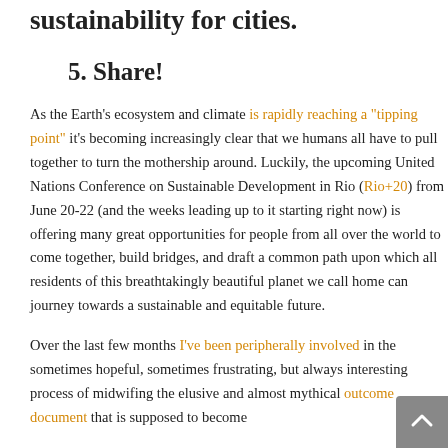sustainability for cities.
5. Share!
As the Earth's ecosystem and climate is rapidly reaching a "tipping point" it's becoming increasingly clear that we humans all have to pull together to turn the mothership around. Luckily, the upcoming United Nations Conference on Sustainable Development in Rio (Rio+20) from June 20-22 (and the weeks leading up to it starting right now) is offering many great opportunities for people from all over the world to come together, build bridges, and draft a common path upon which all residents of this breathtakingly beautiful planet we call home can journey towards a sustainable and equitable future.
Over the last few months I've been peripherally involved in the sometimes hopeful, sometimes frustrating, but always interesting process of midwifing the elusive and almost mythical outcome document that is supposed to become